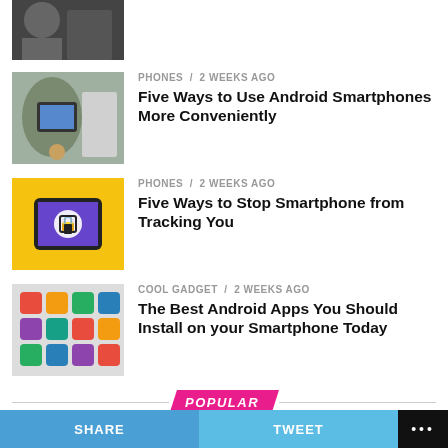[Figure (photo): Partial thumbnail of person using smartphone, dark background]
[Figure (photo): Person using smartphone with coffee on table]
PHONES / 2 weeks ago
Five Ways to Use Android Smartphones More Conveniently
[Figure (photo): Yellow background with smartphone showing lock screen]
PHONES / 2 weeks ago
Five Ways to Stop Smartphone from Tracking You
[Figure (photo): Android app icons on a tablet/phone screen]
COOL GADGET / 2 weeks ago
The Best Android Apps You Should Install on your Smartphone Today
POPULAR
[Figure (photo): Partial thumbnail for Fun & Entertainment article]
FUN & ENTERTAINMENT / 1 year ago
SHARE | TWEET | ...